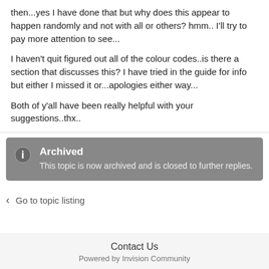then...yes I have done that but why does this appear to happen randomly and not with all or others? hmm.. I'll try to pay more attention to see...
I haven't quit figured out all of the colour codes..is there a section that discusses this? I have tried in the guide for info but either I missed it or...apologies either way...
Both of y'all have been really helpful with your suggestions..thx..
Archived
This topic is now archived and is closed to further replies.
Go to topic listing
Contact Us
Powered by Invision Community